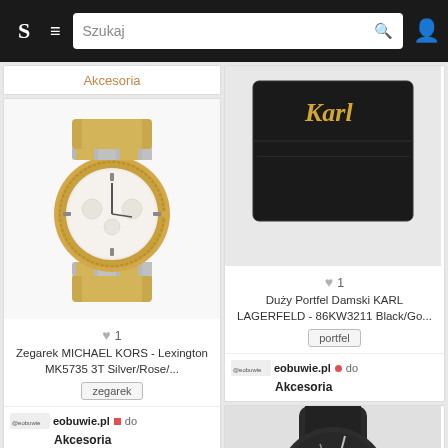[Figure (screenshot): Mobile e-commerce app screenshot showing product listings for watches and accessories on a dark-themed navigation bar with search field]
Szukaj
Akcesoria
[Figure (photo): Michael Kors Lexington MK5735 chronograph watch with two-tone silver and rose gold bracelet]
♥ 1
Zegarek MICHAEL KORS - Lexington MK5735 3T Silver/Rose/...
zegarek
eobuwie.pl do Akcesoria
[Figure (photo): Karl Lagerfeld black wallet with gold Karl signature logo]
♥ 1
Duży Portfel Damski KARL LAGERFELD - 86KW3211 Black/Go...
portfel
eobuwie.pl do Akcesoria
[Figure (photo): Partial view of brown leather watch at bottom left]
[Figure (photo): Partial view of dark minimalist watch at bottom right]